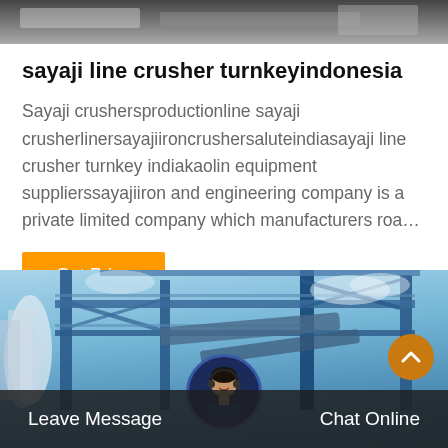[Figure (photo): Top portion of machinery/equipment photo in grayscale]
sayaji line crusher turnkeyindonesia
Sayaji crushersproductionline sayaji crusherlinersayajiironcrushersaluteindiasayaji line crusher turnkey indiakaolin equipment supplierssayajiiron and engineering company is a private limited company which manufacturers roa…
[Figure (photo): Industrial factory/plant structure with blue metal scaffolding and conveyor systems against a partly cloudy sky. Bottom bar shows Leave Message and Chat Online buttons with customer service avatar.]